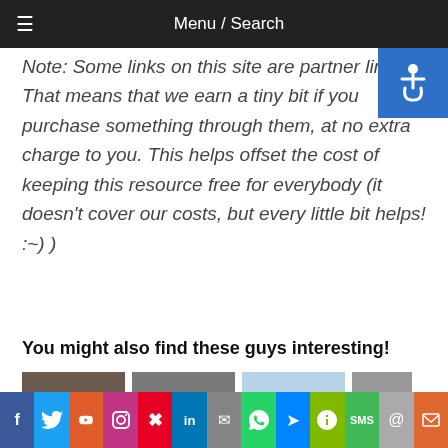Menu / Search
Note: Some links on this site are partner links. That means that we earn a tiny bit if you purchase something through them, at no extra charge to you. This helps offset the cost of keeping this resource free for everybody (it doesn't cover our costs, but every little bit helps! :~) )
You might also find these guys interesting!
[Figure (photo): Four thumbnail images in a row]
[Figure (infographic): Social media share bar with icons: Facebook, Twitter, Reddit, Instagram, Pinterest, LinkedIn, Email, WhatsApp, Messenger, Evernote, SMS, Mail, Print]